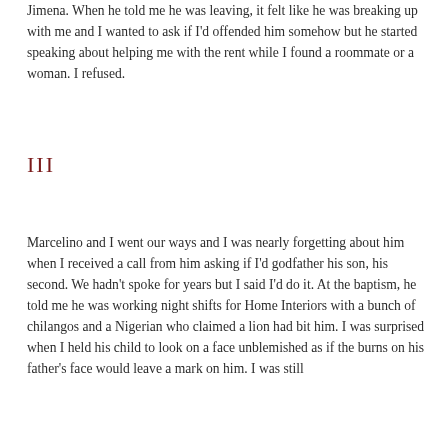Jimena. When he told me he was leaving, it felt like he was breaking up with me and I wanted to ask if I'd offended him somehow but he started speaking about helping me with the rent while I found a roommate or a woman. I refused.
III
Marcelino and I went our ways and I was nearly forgetting about him when I received a call from him asking if I'd godfather his son, his second. We hadn't spoke for years but I said I'd do it. At the baptism, he told me he was working night shifts for Home Interiors with a bunch of chilangos and a Nigerian who claimed a lion had bit him. I was surprised when I held his child to look on a face unblemished as if the burns on his father's face would leave a mark on him. I was still